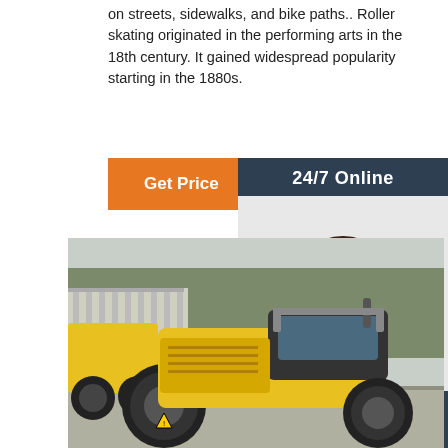on streets, sidewalks, and bike paths.. Roller skating originated in the performing arts in the 18th century. It gained widespread popularity starting in the 1880s.
[Figure (other): Orange 'Get Price' button]
[Figure (photo): Customer service representative with headset smiling, with '24/7 Online' header, 'Click here for free chat!' text, and orange 'QUOTATION' button on dark blue background]
[Figure (photo): Yellow road roller / compactor machine parked in a lot with trees and building in background]